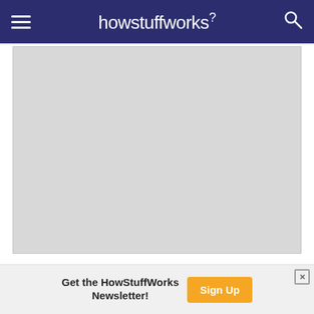howstuffworks
[Figure (other): Gray advertisement placeholder rectangle]
[Figure (photo): Partial photo of a woman's face with blonde bangs, overlaid on orange background with text 'Old Metarie Dermatology, Louisiana']
Old Metarie Dermatology, Louisiana
Get the HowStuffWorks Newsletter!
Sign Up